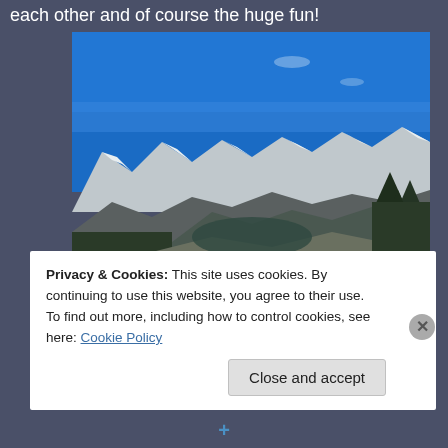each other and of course the huge fun!
[Figure (photo): Mountain landscape photo showing a hiking trail in the foreground with rocky terrain, pine trees on the left, and snow-capped mountain peaks in the background under a bright blue sky.]
Privacy & Cookies: This site uses cookies. By continuing to use this website, you agree to their use.
To find out more, including how to control cookies, see here: Cookie Policy
Close and accept